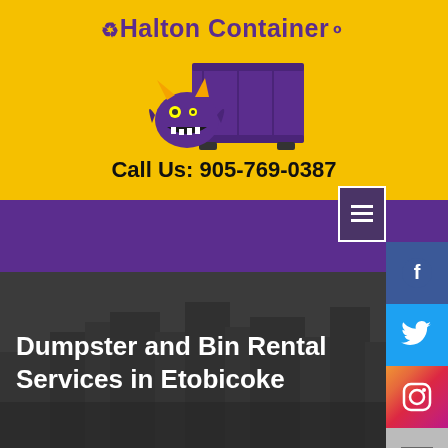[Figure (logo): Halton Container logo with recycling arrows, brand name in purple bold text on yellow background, and a purple dumpster with a monster mascot illustration]
Call Us: 905-769-0387
[Figure (screenshot): Purple navigation bar with hamburger menu icon and social media sidebar buttons for Facebook, Twitter, Instagram, Email, and a scroll-to-top button]
Dumpster and Bin Rental Services in Etobicoke